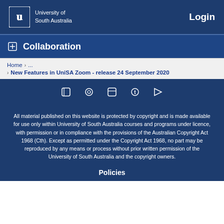University of South Australia | Login
Collaboration
Home > ... > New Features in UniSA Zoom - release 24 September 2020
[Figure (other): Row of five social media icon buttons on dark blue background]
All material published on this website is protected by copyright and is made available for use only within University of South Australia courses and programs under licence, with permission or in compliance with the provisions of the Australian Copyright Act 1968 (Cth). Except as permitted under the Copyright Act 1968, no part may be reproduced by any means or process without prior written permission of the University of South Australia and the copyright owners.
Policies